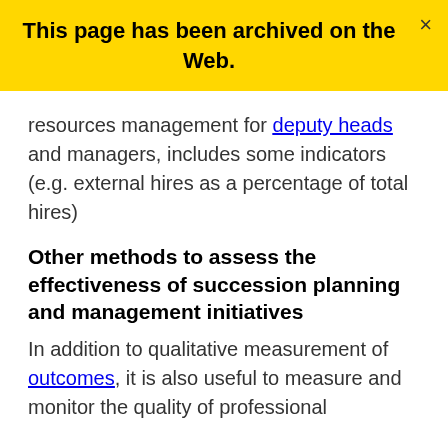This page has been archived on the Web.
resources management for deputy heads and managers, includes some indicators (e.g. external hires as a percentage of total hires)
Other methods to assess the effectiveness of succession planning and management initiatives
In addition to qualitative measurement of outcomes, it is also useful to measure and monitor the quality of professional